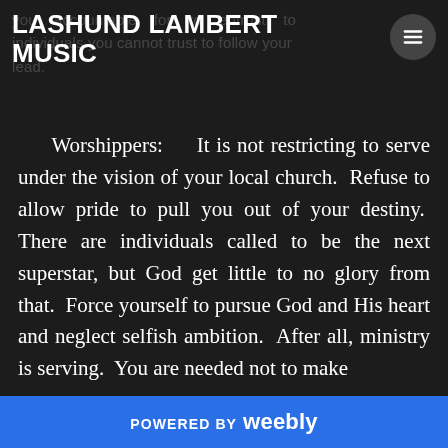you accountable for to entrust to individuals you cannot trust to follow your lead.
LASHUND LAMBERT MUSIC
Worshippers:   It is not restricting to serve under the vision of your local church.  Refuse to allow pride to pull you out of your destiny.  There are individuals called to be the next superstar, but God get little to no glory from that.  Force yourself to pursue God and His heart and neglect selfish ambition.  After all, ministry is serving.  You are needed not to make
POWERED BY weebly